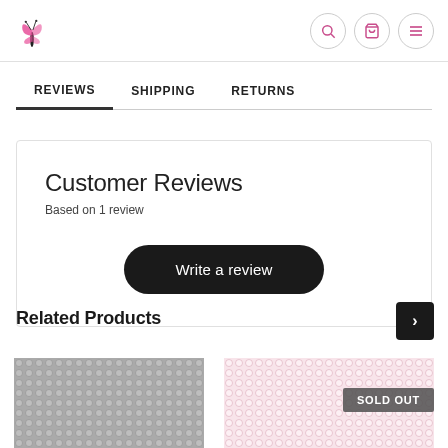[Figure (logo): Pink butterfly logo in top left of e-commerce site header]
REVIEWS  SHIPPING  RETURNS
Customer Reviews
Based on 1 review
Write a review
Related Products
[Figure (photo): Crystal/rhinestone mesh fabric in black and white]
[Figure (photo): Crystal/rhinestone mesh fabric in pink with SOLD OUT badge]